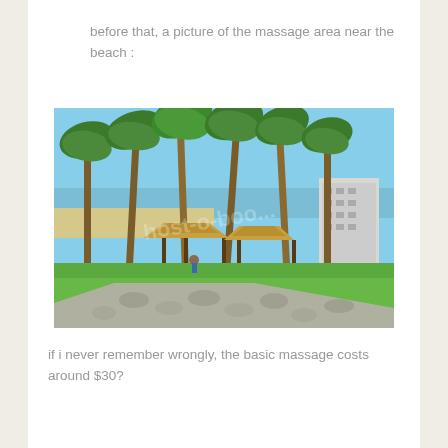before that, a picture of the massage area near the beach :
[Figure (photo): Outdoor massage area near the beach with thatched-roof gazebos, tall palm trees, green lawn, a cobblestone path, and a hotel building in the background under a clear blue sky.]
if i never remember wrongly, the basic massage costs around $30?